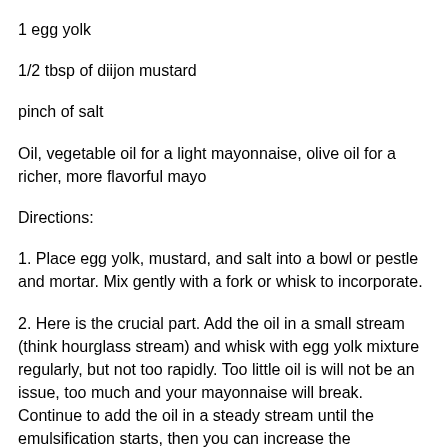1 egg yolk
1/2 tbsp of diijon mustard
pinch of salt
Oil, vegetable oil for a light mayonnaise, olive oil for a richer, more flavorful mayo
Directions:
1. Place egg yolk, mustard, and salt into a bowl or pestle and mortar. Mix gently with a fork or whisk to incorporate.
2. Here is the crucial part. Add the oil in a small stream (think hourglass stream) and whisk with egg yolk mixture regularly, but not too rapidly. Too little oil is will not be an issue, too much and your mayonnaise will break. Continue to add the oil in a steady stream until the emulsification starts, then you can increase the